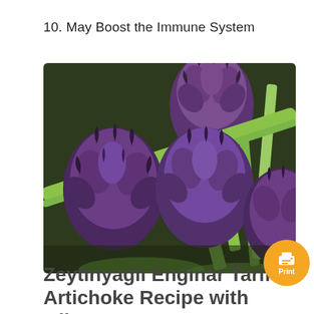10. May Boost the Immune System
[Figure (photo): Close-up photo of multiple purple artichokes with green stems, arranged together in a bunch.]
Zeytinyağlı Enginar Tarifi – Artichoke Recipe with Olive Oil